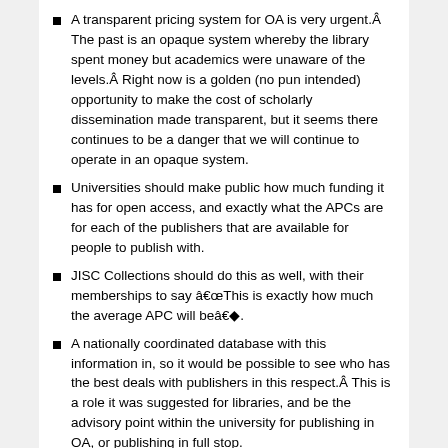A transparent pricing system for OA is very urgent.Â The past is an opaque system whereby the library spent money but academics were unaware of the levels.Â  Right now is a golden (no pun intended) opportunity to make the cost of scholarly dissemination made transparent, but it seems there continues to be a danger that we will continue to operate in an opaque system.
Universities should make public how much funding it has for open access, and exactly what the APCs are for each of the publishers that are available for people to publish with.
JISC Collections should do this as well, with their memberships to say “This is exactly how much the average APC will be”◆.
A nationally coordinated database with this information in, so it would be possible to see who has the best deals with publishers in this respect.Â This is a role it was suggested for libraries, and be the advisory point within the university for publishing in OA, or publishing in full stop.